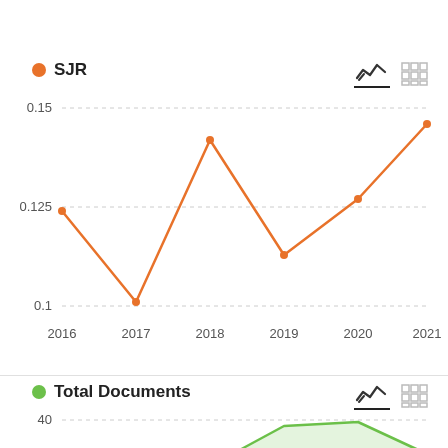[Figure (line-chart): SJR]
[Figure (line-chart): Total Documents]